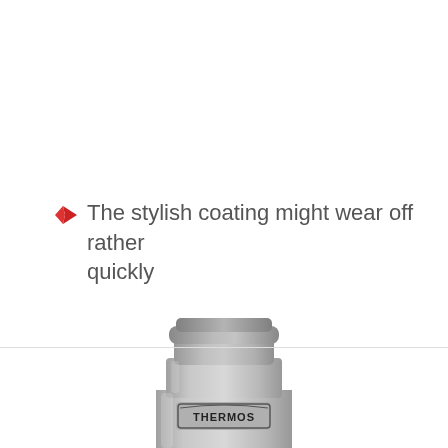The stylish coating might wear off rather quickly
[Figure (photo): A matte silver/grey Thermos brand stainless steel food jar with the THERMOS logo embossed on the front, sitting on a light reflective surface.]